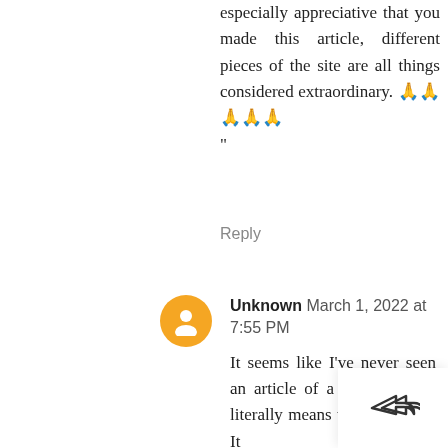especially appreciative that you made this article, different pieces of the site are all things considered extraordinary. 🙏🙏🙏🙏🙏"
Reply
Unknown March 1, 2022 at 7:55 PM
It seems like I've never seen an article of a kind like . It literally means the best thorn. It